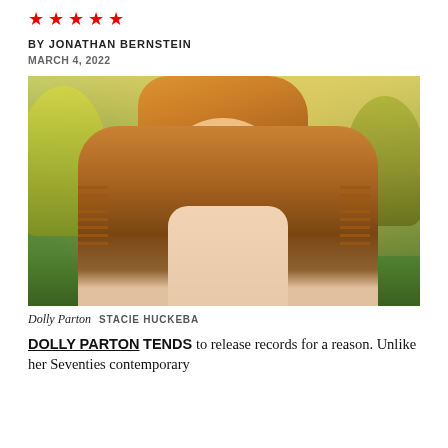[Figure (other): Five red star rating icons in a row]
BY JONATHAN BERNSTEIN
MARCH 4, 2022
[Figure (photo): Photo of Dolly Parton wearing a tan cowboy hat and fringed suede jacket over a floral dress, posed outdoors with green trees in background, warm golden light]
Dolly Parton  STACIE HUCKEBA
DOLLY PARTON TENDS to release records for a reason. Unlike her Seventies contemporary